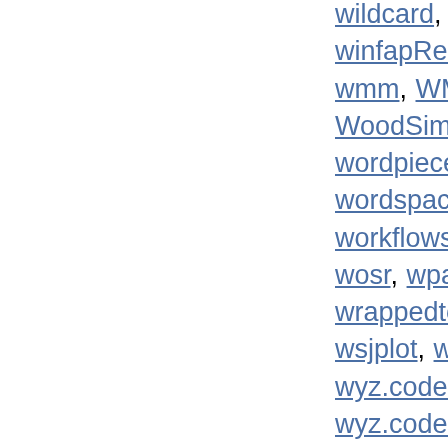wildcard, wildmeta, wildviz, wilson, which, winfapReader, wISAM, withr, wk, wkb, wkutils, wmm, WMWssp, wodds, WoodburyMatrix, WoodSimulatR, worcs, wordler, wordpiece, wordpiece.data, wordpredictor, WordR, wordsala, wordspace, workboots, workflowr, workflows, workflowsets, workloopR, worldfootballR, worr, wosr, wpa, wpm, wppExplorer, wppi, wrappedtools, wrassp, WRI, writexl, wrswoR, w, wsjplot, wsyn, WtTopsis, WufooR, wyz.code.metaTesting, wyz.code.offensiveProgramming, wyz.code.rdoc, wyz.code.testthat, x3ptools, xaringanExtra, xaringanthemer, xcms, xcore, xgboost, xgxr, XICOR, XiMpLe, XKCDdata, xlink, xlsx, xlutil, xml2, xmlparsedata, xmlr, xmrr, XNAString, xne, xoi, xopen, xportr, xpose, xpose4, xrf, xrnet, xR0, xslt, xsp, xspliner, xtensor, xtreg2way, xutils, yakmoR, yamlet, yamlme, yamss, yaps, YAPSA, yardstick, yarn, yarr, yatah, ycevo, yesno, yfR, y, ymd, ymlthis, ympes, yonder, YPBP, YPPE, ypr, ypssc, yum, zalpha, zbank, zcurve, zeallot, zebu, zeitgebr, zellkonverter, zen4R, zenplots, zerotradeflow, zfit, ZillowR, zinbwave, zip, zipangu, zipcodeR, zipfextR, zlog, zmisc, zoid,